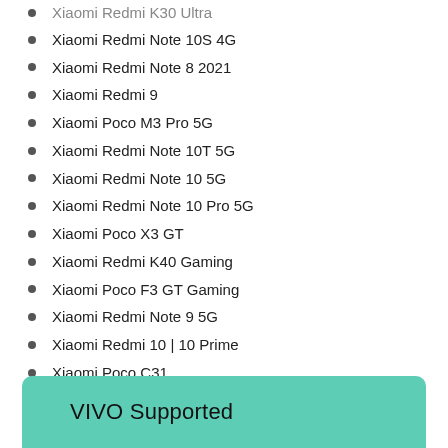Xiaomi Redmi K30 Ultra
Xiaomi Redmi Note 10S 4G
Xiaomi Redmi Note 8 2021
Xiaomi Redmi 9
Xiaomi Poco M3 Pro 5G
Xiaomi Redmi Note 10T 5G
Xiaomi Redmi Note 10 5G
Xiaomi Redmi Note 10 Pro 5G
Xiaomi Poco X3 GT
Xiaomi Redmi K40 Gaming
Xiaomi Poco F3 GT Gaming
Xiaomi Redmi Note 9 5G
Xiaomi Redmi 10 | 10 Prime
Xiaomi Poco C31
Xiaomi 11T
VIVO Supported